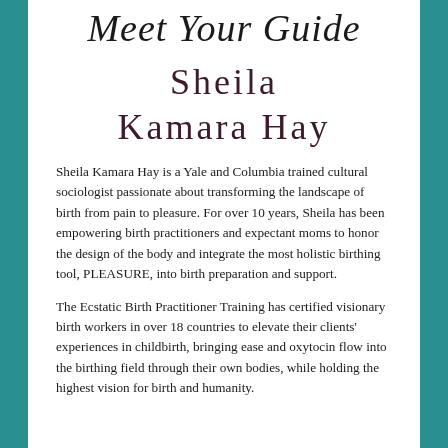Meet Your Guide
Sheila
Kamara Hay
Sheila Kamara Hay is a Yale and Columbia trained cultural sociologist passionate about transforming the landscape of birth from pain to pleasure. For over 10 years, Sheila has been empowering birth practitioners and expectant moms to honor the design of the body and integrate the most holistic birthing tool, PLEASURE, into birth preparation and support.
The Ecstatic Birth Practitioner Training has certified visionary birth workers in over 18 countries to elevate their clients' experiences in childbirth, bringing ease and oxytocin flow into the birthing field through their own bodies, while holding the highest vision for birth and humanity.